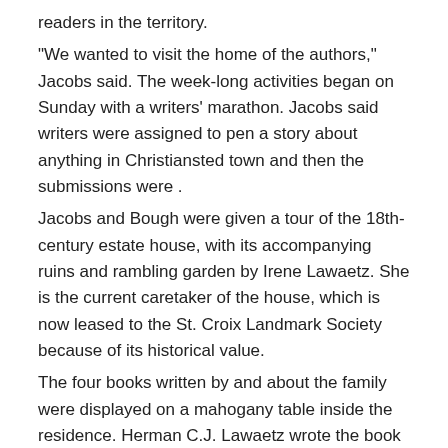readers in the territory.
"We wanted to visit the home of the authors," Jacobs said. The week-long activities began on Sunday with a writers' marathon. Jacobs said writers were assigned to pen a story about anything in Christiansted town and then the submissions were .
Jacobs and Bough were given a tour of the 18th-century estate house, with its accompanying ruins and rambling garden by Irene Lawaetz. She is the current caretaker of the house, which is now leased to the St. Croix Landmark Society because of its historical value.
The four books written by and about the family were displayed on a mahogany table inside the residence. Herman C.J. Lawaetz wrote the book Peter von Scholten in his native Danish language. The information in the book was gathered from people who knew the Danish General and has since been reprinted in English. St Croix: 500 Years pre-Columbus